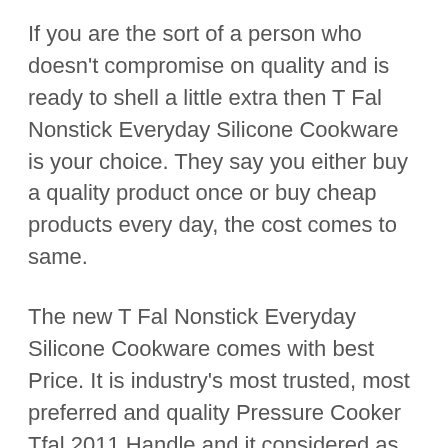If you are the sort of a person who doesn't compromise on quality and is ready to shell a little extra then T Fal Nonstick Everyday Silicone Cookware is your choice. They say you either buy a quality product once or buy cheap products every day, the cost comes to same.
The new T Fal Nonstick Everyday Silicone Cookware comes with best Price. It is industry's most trusted, most preferred and quality Pressure Cooker Tfal 2011 Handle and it considered as Gold Standard by many users as well as non-users.
If you are looking for a long-time investment with a quality Pressure Cooker Tfal 2011 Handle then don't look beyond T Fal Nonstick Everyday Silicone Cookware. The product is featured, highlighted and appreciated in Reviews of Pressure Cooker Tfal 2011 Handle in 2022 and this is...